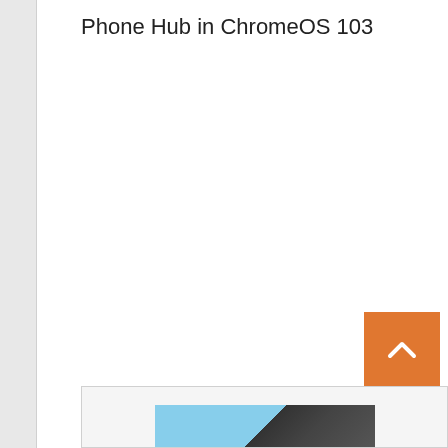Phone Hub in ChromeOS 103
[Figure (screenshot): Partial screenshot/thumbnail at the bottom of the page showing a phone hub interface with a blue background and dark device imagery]
[Figure (other): Orange scroll-to-top button with white chevron/arrow icon in the bottom-right corner of the page]